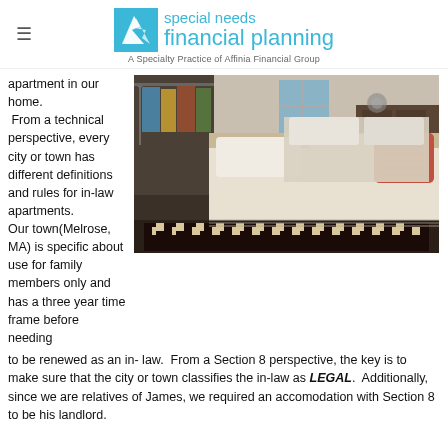special needs financial planning — A Specialty Practice of Affinia Financial Group
[Figure (photo): Bedroom with a made bed with white bedding and red/coral throw pillow, open closet with hanging clothes on the left, dark wood dresser in background, striped rug on floor.]
apartment in our home.  From a technical perspective, every city or town has different definitions and rules for in-law apartments. Our town(Melrose, MA) is specific about use for family members only and has a three year time frame before needing to be renewed as an in- law.  From a Section 8 perspective, the key is to make sure that the city or town classifies the in-law as LEGAL.  Additionally, since we are relatives of James, we required an accomodation with Section 8 to be his landlord.